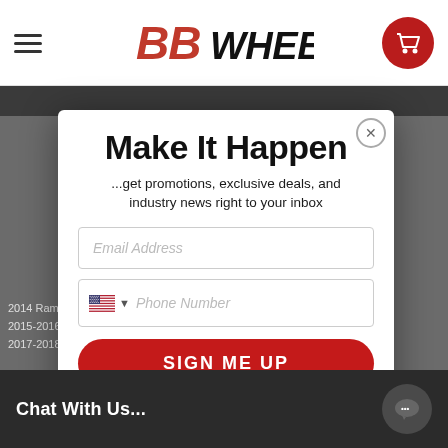[Figure (logo): BB Wheels logo in bold red italic text on white nav bar]
Make It Happen
...get promotions, exclusive deals, and industry news right to your inbox
Email Address (input field placeholder)
Phone Number (input field with US flag)
SIGN ME UP
By clicking SIGN ME UP, you agree to receive marketing text messages and emails from BB Wheels at the number provided, including messages sent by autodialer. Consent is not a condition of any purchase. Message and data rates may apply. Message frequency varies. Reply HELP for help or STOP to cancel. We process your data as stated in our Privacy Policy
2014 Ram ...
2015-2016 R...
2017-2018 R...
Chat With Us...